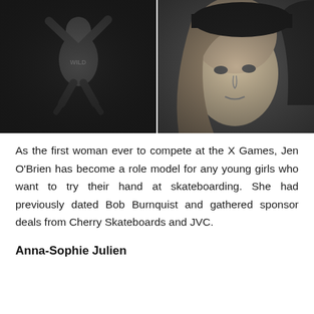[Figure (photo): Two black-and-white photos side by side. Left: a woman in dark clothing jumping with arms raised. Right: a close-up portrait of a woman with long blonde hair and a dark cap.]
As the first woman ever to compete at the X Games, Jen O'Brien has become a role model for any young girls who want to try their hand at skateboarding. She had previously dated Bob Burnquist and gathered sponsor deals from Cherry Skateboards and JVC.
Anna-Sophie Julien